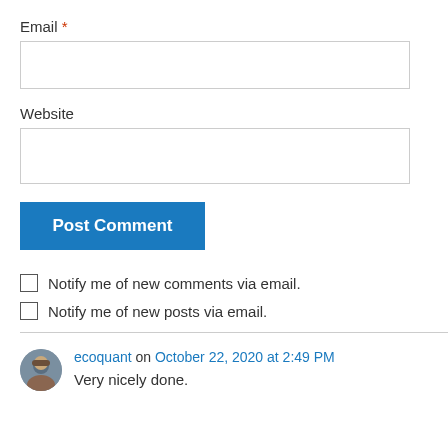Email *
[Figure (other): Empty email text input field with border]
Website
[Figure (other): Empty website text input field with border]
Post Comment
Notify me of new comments via email.
Notify me of new posts via email.
ecoquant on October 22, 2020 at 2:49 PM
Very nicely done.